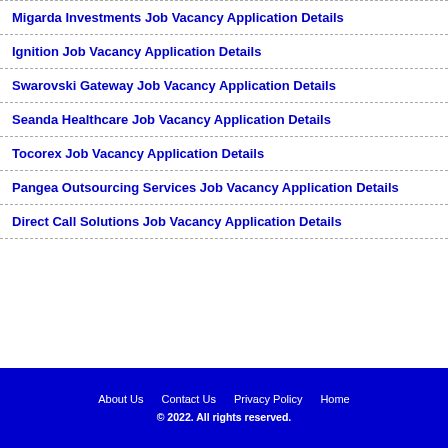Migarda Investments Job Vacancy Application Details
Ignition Job Vacancy Application Details
Swarovski Gateway Job Vacancy Application Details
Seanda Healthcare Job Vacancy Application Details
Tocorex Job Vacancy Application Details
Pangea Outsourcing Services Job Vacancy Application Details
Direct Call Solutions Job Vacancy Application Details
About Us   Contact Us   Privacy Policy   Home
© 2022. All rights reserved.